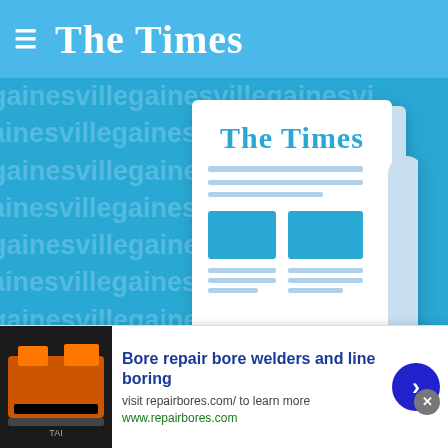The Times
[Figure (illustration): Blue banner with repeated 'gainesvill' watermark text and a newspaper illustration showing 'The Times' masthead with placeholder content blocks]
From staff and wire reports
[Figure (screenshot): Advertisement banner: 'Bore repair bore welders and line boring' - visit repairbores.com/ to learn more - www.repairbores.com, with machinery thumbnail image and blue arrow button, and a close (X) button]